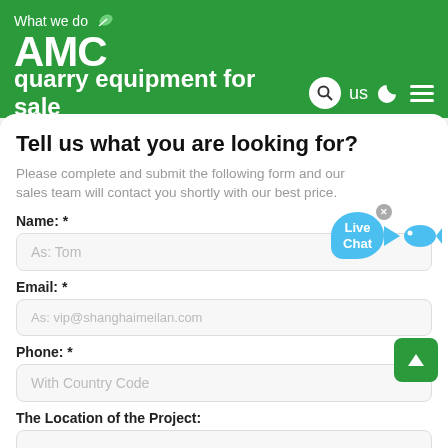What we do AMC quarry equipment for sale
Tell us what you are looking for?
Please complete and submit the following form and our sales team will contact you shortly with our best price.
Name: *
As: Tom
Email: *
As: vip@shanghaimeilan.com
Phone: *
With Country Code
The Location of the Project: